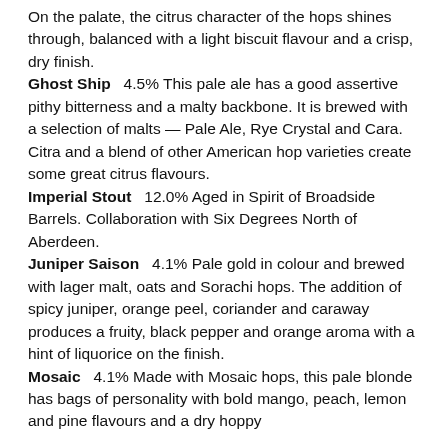On the palate, the citrus character of the hops shines through, balanced with a light biscuit flavour and a crisp, dry finish.
Ghost Ship   4.5% This pale ale has a good assertive pithy bitterness and a malty backbone. It is brewed with a selection of malts — Pale Ale, Rye Crystal and Cara. Citra and a blend of other American hop varieties create some great citrus flavours.
Imperial Stout   12.0% Aged in Spirit of Broadside Barrels. Collaboration with Six Degrees North of Aberdeen.
Juniper Saison   4.1% Pale gold in colour and brewed with lager malt, oats and Sorachi hops. The addition of spicy juniper, orange peel, coriander and caraway produces a fruity, black pepper and orange aroma with a hint of liquorice on the finish.
Mosaic   4.1% Made with Mosaic hops, this pale blonde has bags of personality with bold mango, peach, lemon and pine flavours and a dry hoppy